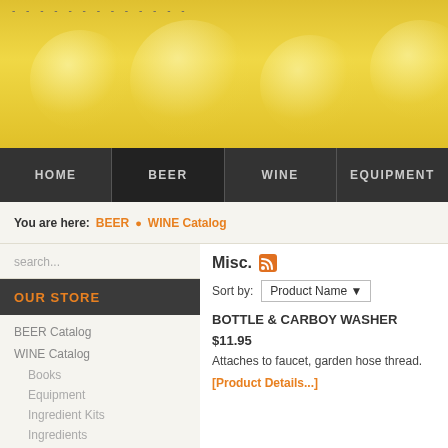[Figure (illustration): Yellow/golden banner with bubble/blob light patterns and dashed line at top left]
HOME  BEER  WINE  EQUIPMENT
You are here:  BEER • WINE Catalog
search...
OUR STORE
BEER Catalog
WINE Catalog
Books
Equipment
Ingredient Kits
Ingredients
Misc.
Misc.
Sort by: Product Name
BOTTLE & CARBOY WASHER
$11.95
Attaches to faucet, garden hose thread.
[Product Details...]